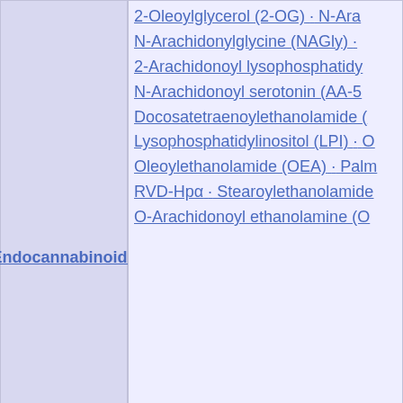Endocannabinoids
2-Oleoylglycerol (2-OG) · N-Ara...
N-Arachidonylglycine (NAGly) ·...
2-Arachidonoyl lysophosphatidy...
N-Arachidonoyl serotonin (AA-5...
Docosatetraenoylethanolamide (...
Lysophosphatidylinositol (LPI) · ...
Oleoylethanolamide (OEA) · Palm...
RVD-Hpα · Stearoylethanolamide...
O-Arachidonoyl ethanolamine (O...
9-C...
A-4...
Aju...
AM...
AM...
AM...
AM...
· D...